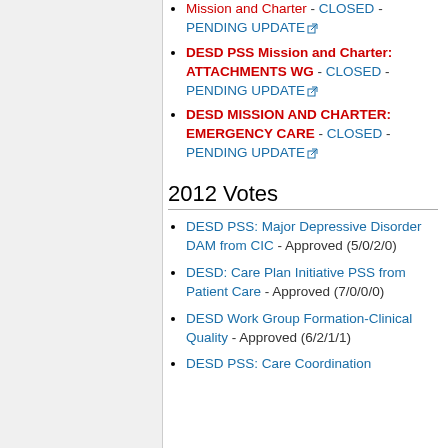Mission and Charter - CLOSED - PENDING UPDATE
DESD PSS Mission and Charter: ATTACHMENTS WG - CLOSED - PENDING UPDATE
DESD MISSION AND CHARTER: EMERGENCY CARE - CLOSED - PENDING UPDATE
2012 Votes
DESD PSS: Major Depressive Disorder DAM from CIC - Approved (5/0/2/0)
DESD: Care Plan Initiative PSS from Patient Care - Approved (7/0/0/0)
DESD Work Group Formation-Clinical Quality - Approved (6/2/1/1)
DESD PSS: Care Coordination